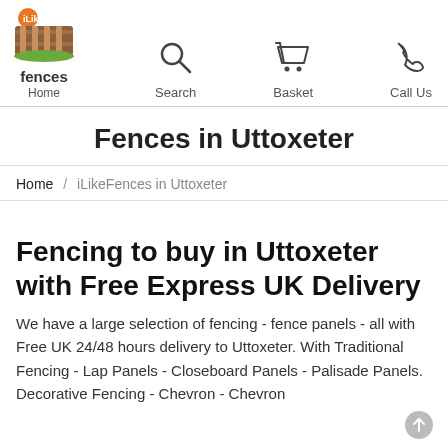iLike Fences - Home | Search | Basket | Call Us
Fences in Uttoxeter
Home / iLikeFences in Uttoxeter
Fencing to buy in Uttoxeter with Free Express UK Delivery
We have a large selection of fencing - fence panels - all with Free UK 24/48 hours delivery to Uttoxeter. With Traditional Fencing - Lap Panels - Closeboard Panels - Palisade Panels. Decorative Fencing - Chevron - Chevron